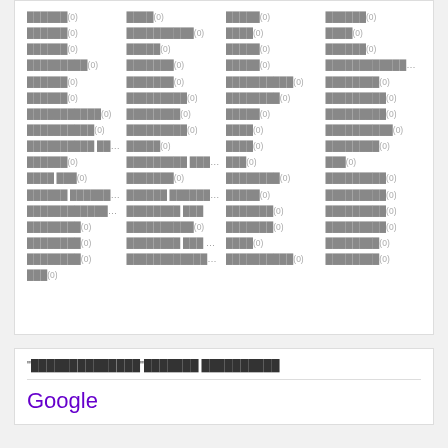Grid of redacted terms with (0) counts in 4 columns
"redacted"redacted redacted
Google